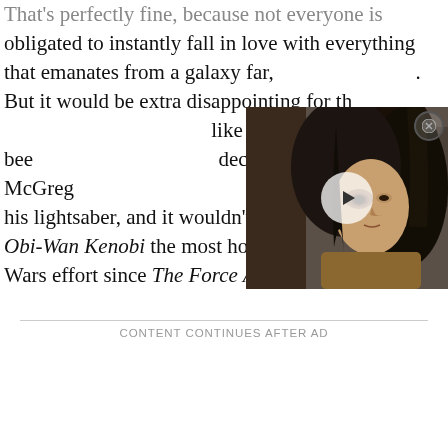That's perfectly fine, because not everyone is obligated to instantly fall in love with everything that emanates from a galaxy far, far away. But it would be extra disappointing for those who do actually like it. After all, fans have been waiting for decades to see Ewan McGregor don his Jedi robes and dust off his lightsaber, and it wouldn't be hyperbolic to call Obi-Wan Kenobi the most hotly-anticipated Star Wars effort since The Force Awakens.
[Figure (photo): Video thumbnail showing a young woman with long dark hair and a bruised eye, dramatic lighting against a stone background, with a play button overlay]
CONTENT CONTINUES AFTER AD